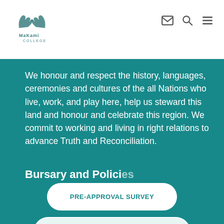MaKami College
We honour and respect the history, languages, ceremonies and cultures of the all Nations who live, work, and play here, help us steward this land and honour and celebrate this region. We commit to working and living in right relations to advance Truth and Reconciliation.
Bursary and Policies
PRE-APPROVAL SURVEY
CONTACT A STUDENT ADVISOR